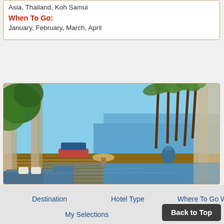Asia, Thailand, Koh Samui
When To Go:
January, February, March, April
[Figure (photo): Luxury resort villa with flowing curtains, wooden deck, infinity pool, palm trees, and ocean view in Koh Samui, Thailand]
Destination
Hotel Type
Where To Go When
My Selections
Back to Top